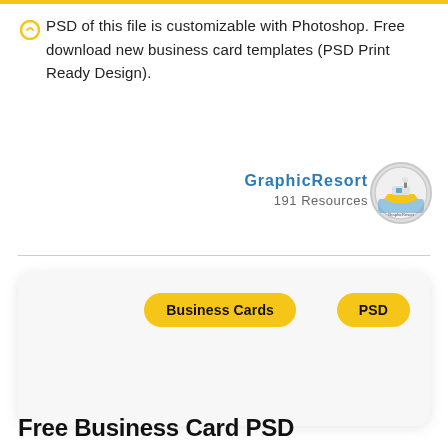PSD of this file is customizable with Photoshop. Free download new business card templates (PSD Print Ready Design).
GraphicResort
191 Resources
[Figure (logo): Circular logo for GraphicResort showing a yellow boat on water with blue text, circular border]
Business Cards
PSD
Free Business Card PSD